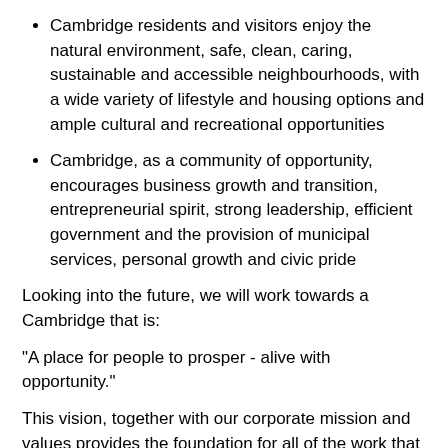Cambridge residents and visitors enjoy the natural environment, safe, clean, caring, sustainable and accessible neighbourhoods, with a wide variety of lifestyle and housing options and ample cultural and recreational opportunities
Cambridge, as a community of opportunity, encourages business growth and transition, entrepreneurial spirit, strong leadership, efficient government and the provision of municipal services, personal growth and civic pride
Looking into the future, we will work towards a Cambridge that is:
"A place for people to prosper - alive with opportunity."
This vision, together with our corporate mission and values provides the foundation for all of the work that we do at the City.